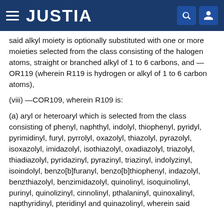JUSTIA
said alkyl moiety is optionally substituted with one or more moieties selected from the class consisting of the halogen atoms, straight or branched alkyl of 1 to 6 carbons, and —OR119 (wherein R119 is hydrogen or alkyl of 1 to 6 carbon atoms),
(viii) —COR109, wherein R109 is:
(a) aryl or heteroaryl which is selected from the class consisting of phenyl, naphthyl, indolyl, thiophenyl, pyridyl, pyrimidinyl, furyl, pyrrolyl, oxazolyl, thiazolyl, pyrazolyl, isoxazolyl, imidazolyl, isothiazolyl, oxadiazolyl, triazolyl, thiadiazolyl, pyridazinyl, pyrazinyl, triazinyl, indolyzinyl, isoindolyl, benzo[b]furanyl, benzo[b]thiophenyl, indazolyl, benzthiazolyl, benzimidazolyl, quinolinyl, isoquinolinyl, purinyl, quinolizinyl, cinnolinyl, pthalaninyl, quinoxalinyl, napthyridinyl, pteridinyl and quinazolinyl, wherein said